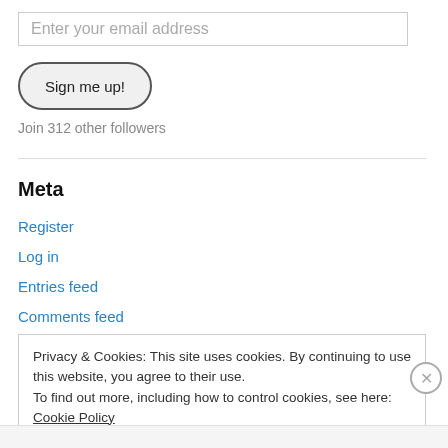Enter your email address
Sign me up!
Join 312 other followers
Meta
Register
Log in
Entries feed
Comments feed
Privacy & Cookies: This site uses cookies. By continuing to use this website, you agree to their use.
To find out more, including how to control cookies, see here: Cookie Policy
Close and accept